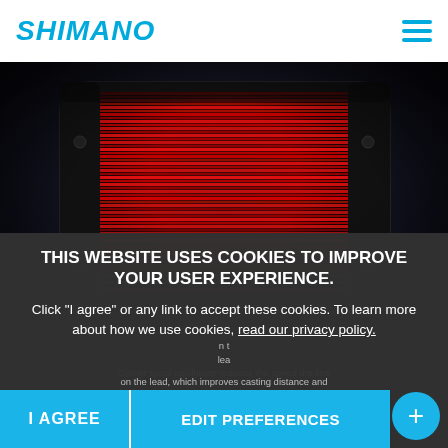SHIMANO
[Figure (photo): Close-up photograph of a Shimano fishing reel with dark body and deep red/crimson spooled fishing line, set against a dark background]
THIS WEBSITE USES COOKIES TO IMPROVE YOUR USER EXPERIENCE. Click "I agree" or any link to accept these cookies. To learn more about how we use cookies, read our privacy policy.
Slower spool oscillation reduces the speed the line is laid on the lead, which improves casting distance and
I AGREE
EDIT PREFERENCES